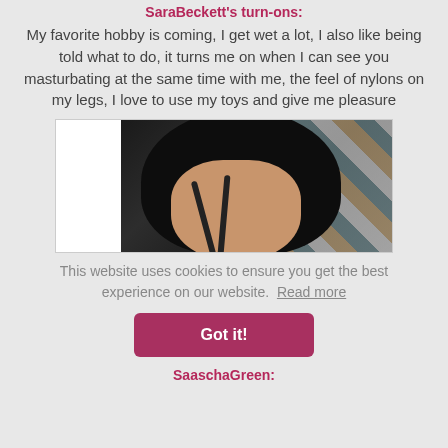SaraBeckett's turn-ons:
My favorite hobby is coming, I get wet a lot, I also like being told what to do, it turns me on when I can see you masturbating at the same time with me, the feel of nylons on my legs, I love to use my toys and give me pleasure
[Figure (photo): Profile photo of SaraBeckett showing dark hair, partial face view with decorative background pattern]
This website uses cookies to ensure you get the best experience on our website. Read more
Got it!
SaaschaGreen: